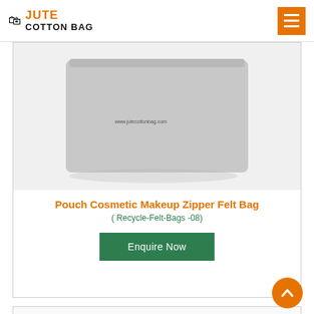JUTE COTTON BAG
[Figure (photo): Gray felt pouch cosmetic makeup zipper bag shown from front angle on white background]
Pouch Cosmetic Makeup Zipper Felt Bag
( Recycle-Felt-Bags -08)
Enquire Now
[Figure (photo): Colorful rubber band loops or handles in red, dark red, gray, orange colors at bottom of page]